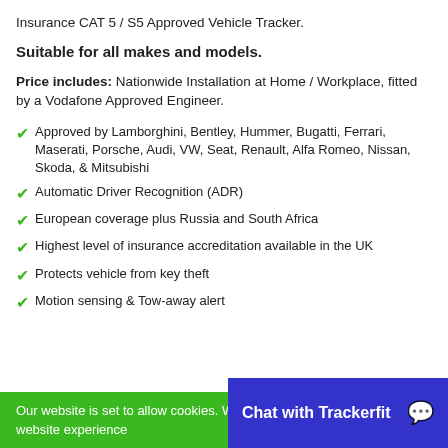Insurance CAT 5 / S5 Approved Vehicle Tracker.
Suitable for all makes and models.
Price includes: Nationwide Installation at Home / Workplace, fitted by a Vodafone Approved Engineer.
Approved by Lamborghini, Bentley, Hummer, Bugatti, Ferrari, Maserati, Porsche, Audi, VW, Seat, Renault, Alfa Romeo, Nissan, Skoda, & Mitsubishi
Automatic Driver Recognition (ADR)
European coverage plus Russia and South Africa
Highest level of insurance accreditation available in the UK
Protects vehicle from key theft
Motion sensing & Tow-away alert
Our website is set to allow cookies. We use cookies to improve your website experience